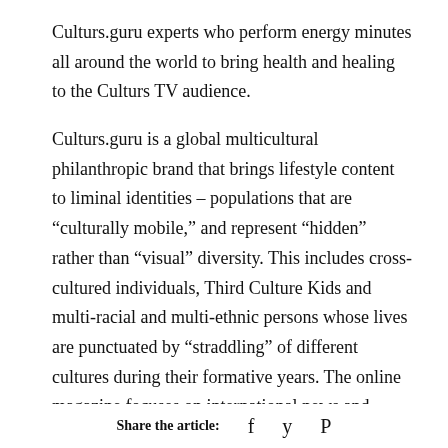Culturs.guru experts who perform energy minutes all around the world to bring health and healing to the Culturs TV audience.
Culturs.guru is a global multicultural philanthropic brand that brings lifestyle content to liminal identities – populations that are “culturally mobile,” and represent “hidden” rather than “visual” diversity. This includes cross-cultured individuals, Third Culture Kids and multi-racial and multi-ethnic persons whose lives are punctuated by “straddling” of different cultures during their formative years. The online magazine focuses on international news and lifestyle topics, including
Share the article:  f  𝒙  𝓙